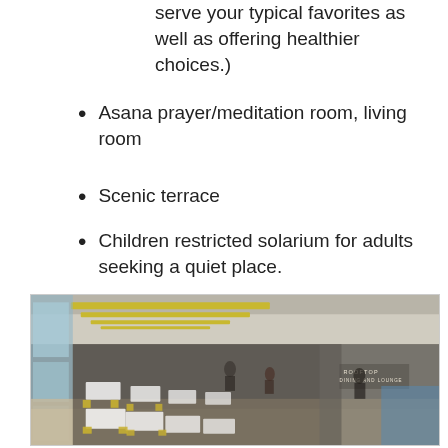serve your typical favorites as well as offering healthier choices.)
Asana prayer/meditation room, living room
Scenic terrace
Children restricted solarium for adults seeking a quiet place.
[Figure (photo): Interior rendering of a rooftop dining and lounge area with yellow ceiling accents, white-clothed tables, wood floors, large windows, and a sign reading ROOFTOP DINING AND LOUNGE]